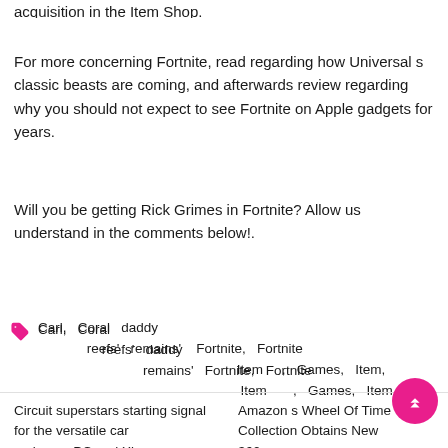acquisition in the Item Shop.
For more concerning Fortnite, read regarding how Universal s classic beasts are coming, and afterwards review regarding why you should not expect to see Fortnite on Apple gadgets for years.
Will you be getting Rick Grimes in Fortnite? Allow us understand in the comments below!.
Carl,  Coral reefs'  daddy remains'  Fortnite,  Fortnite Item ,  Games,  Item,
Circuit superstars starting signal for the versatile car racing on PC and Xbox
Amazon s Wheel Of Time Collection Obtains New 360